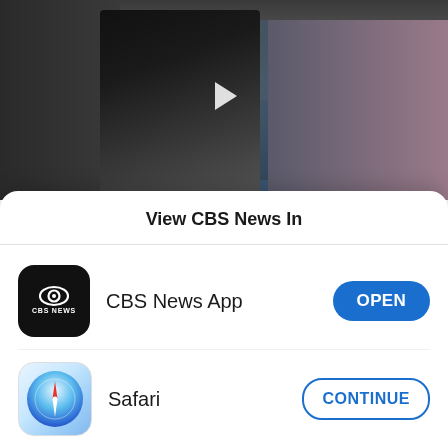[Figure (photo): News video thumbnail showing a group of people including what appears to be migrants or detainees, with a play button icon overlay. People are wearing casual clothing; one person in striped shirt, others in darker clothing.]
Fernando Arredondo was fighting both his deportation and suicidal thoughts. He had
View CBS News In
CBS News App
OPEN
Safari
CONTINUE